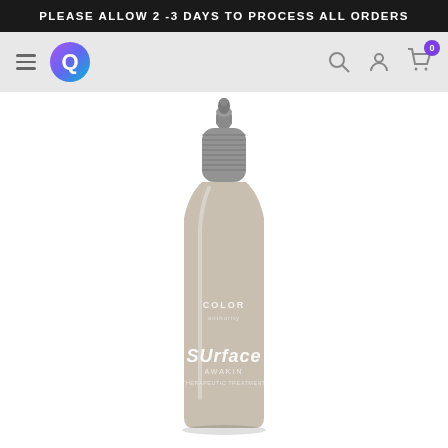PLEASE ALLOW 2 -3 DAYS TO PROCESS ALL ORDERS
[Figure (screenshot): E-commerce website navigation bar with hamburger menu, colorful Q logo, and icons for search, account, and cart (showing 0 items)]
[Figure (photo): Surface Awakin hair product bottle with metallic grey screw-on applicator tip, taupe/beige body with 'COLOR' text and Surface brand logo]